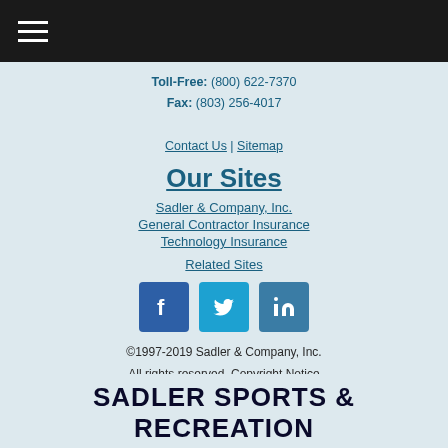Menu / Navigation bar (hamburger icon)
Toll-Free: (800) 622-7370
Fax: (803) 256-4017
Contact Us | Sitemap
Our Sites
Sadler & Company, Inc.
General Contractor Insurance
Technology Insurance
Related Sites
[Figure (logo): Social media icons: Facebook, Twitter, LinkedIn]
©1997-2019 Sadler & Company, Inc. All rights reserved. Copyright Notice
Privacy Policy | Terms of Use | Licenses
[Figure (logo): BBB Accredited Business badge, BBB Rating: A+]
SADLER SPORTS & RECREATION